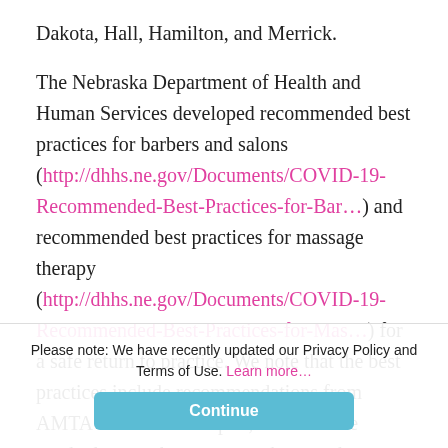Dakota, Hall, Hamilton, and Merrick.
The Nebraska Department of Health and Human Services developed recommended best practices for barbers and salons (http://dhhs.ne.gov/Documents/COVID-19-Recommended-Best-Practices-for-Bar…) and recommended best practices for massage therapy (http://dhhs.ne.gov/Documents/COVID-19-Recommended-Best-Practices-for-Mas…) for a safe return to practice. We note that the best practices include recommendations from AMTA's Nebraska chapter, and we have reached out to the state to make sure they are aware of ABMP's
recommendations, which are available at www.abmp.com/back-to-practice. We hope you find this helpful when you return to work.
Please note: We have recently updated our Privacy Policy and Terms of Use. Learn more…  Continue